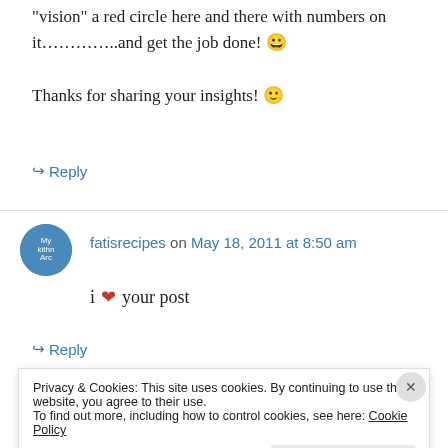“vision” a red circle here and there with numbers on it……………and get the job done! 😀

Thanks for sharing your insights! 🙂
↪ Reply
fatisrecipes on May 18, 2011 at 8:50 am
i ❤ your post
↪ Reply
Privacy & Cookies: This site uses cookies. By continuing to use this website, you agree to their use.
To find out more, including how to control cookies, see here: Cookie Policy